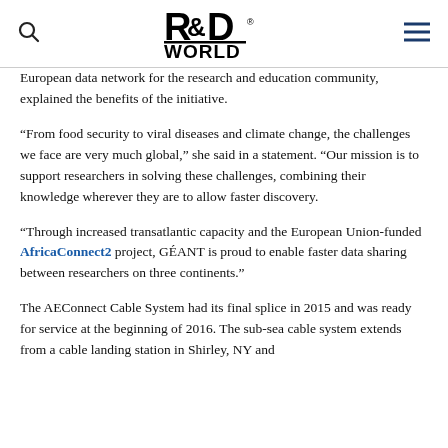R&D WORLD
European data network for the research and education community, explained the benefits of the initiative.
“From food security to viral diseases and climate change, the challenges we face are very much global,” she said in a statement. “Our mission is to support researchers in solving these challenges, combining their knowledge wherever they are to allow faster discovery.
“Through increased transatlantic capacity and the European Union-funded AfricaConnect2 project, GÉANT is proud to enable faster data sharing between researchers on three continents.”
The AEConnect Cable System had its final splice in 2015 and was ready for service at the beginning of 2016. The sub-sea cable system extends from a cable landing station in Shirley, NY and